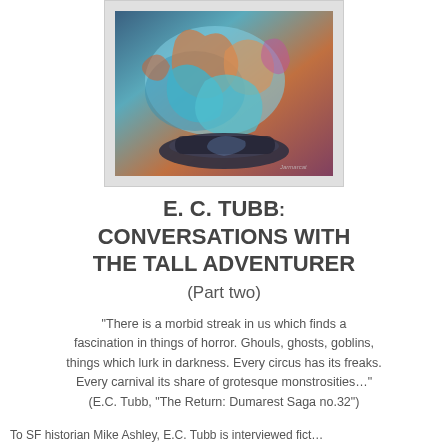[Figure (illustration): Book or magazine cover artwork showing colorful science fiction illustration with figures in action, rendered in blue, orange, and purple tones]
E. C. TUBB: CONVERSATIONS WITH THE TALL ADVENTURER (Part two)
“There is a morbid streak in us which finds a fascination in things of horror. Ghouls, ghosts, goblins, things which lurk in darkness. Every circus has its freaks. Every carnival its share of grotesque monstrosities…” (E.C. Tubb, “The Return: Dumarest Saga no.32”)
To SF historian Mike Ashley, E.C. Tubb is interviewed fict...